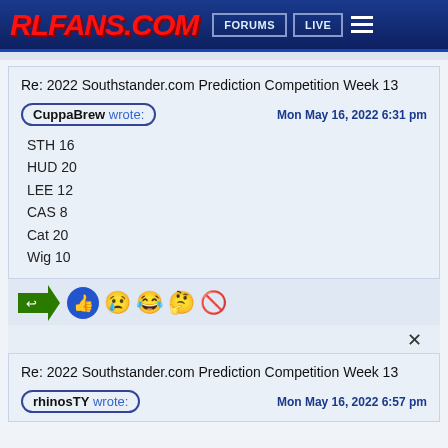RLFANS.COM | FORUMS | LIVE
Re: 2022 Southstander.com Prediction Competition Week 13
CuppaBrew wrote: Mon May 16, 2022 6:31 pm
STH 16
HUD 20
LEE 12
CAS 8
Cat 20
Wig 10
Re: 2022 Southstander.com Prediction Competition Week 13
rhinosTY wrote: Mon May 16, 2022 6:57 pm